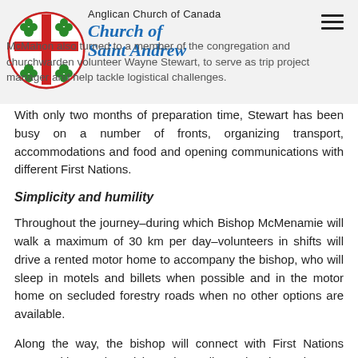Anglican Church of Canada Church of Saint Andrew
McMahon also turned to a member of the congregation and churchwarden volunteer Wayne Stewart, to serve as trip project manager and help tackle logistical challenges.
With only two months of preparation time, Stewart has been busy on a number of fronts, organizing transport, accommodations and food and opening communications with different First Nations.
Simplicity and humility
Throughout the journey–during which Bishop McMenamie will walk a maximum of 30 km per day–volunteers in shifts will drive a rented motor home to accompany the bishop, who will sleep in motels and billets when possible and in the motor home on secluded forestry roads when no other options are available.
Along the way, the bishop will connect with First Nations communities and participate in Anglican church services. In Victoria, he plans to appear at a First Nations soccer tournament and the Tent City that has sprung up in front of Christ Church Cathedral. But not